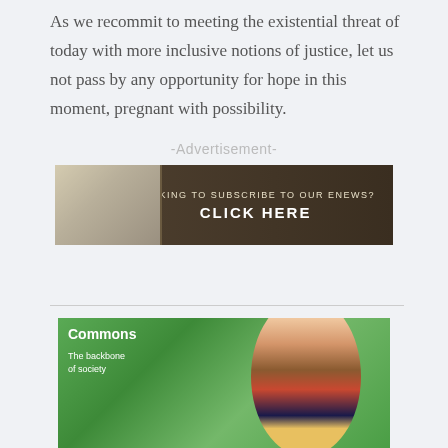As we recommit to meeting the existential threat of today with more inclusive notions of justice, let us not pass by any opportunity for hope in this moment, pregnant with possibility.
-Advertisement-
[Figure (illustration): Advertisement banner with a map image on the left and dark wood-textured background on the right with text: LOOKING TO SUBSCRIBE TO OUR ENEWS? CLICK HERE]
[Figure (photo): Magazine cover or promotional image showing a smiling woman in colorful patterned clothing against a green background, with text 'Commons' and 'The backbone of society']